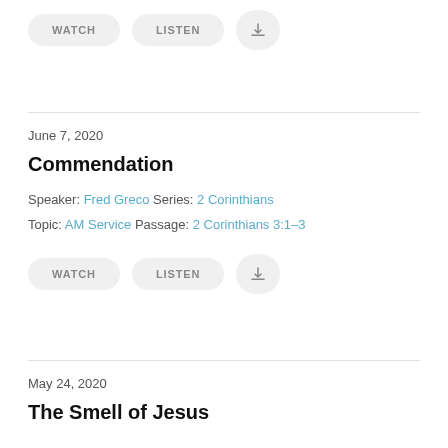[Figure (other): WATCH, LISTEN, and download buttons at the top of the page]
June 7, 2020
Commendation
Speaker: Fred Greco Series: 2 Corinthians
Topic: AM Service Passage: 2 Corinthians 3:1–3
[Figure (other): WATCH, LISTEN, and download buttons for Commendation sermon]
May 24, 2020
The Smell of Jesus